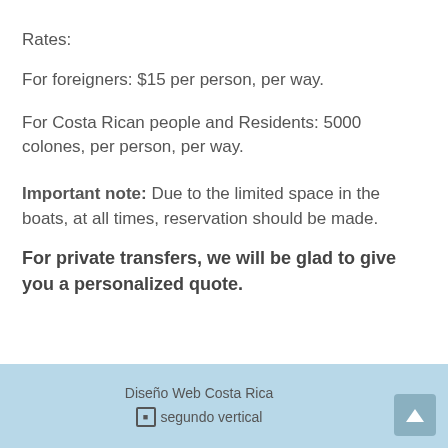Rates:
For foreigners: $15 per person, per way.
For Costa Rican people and Residents: 5000 colones, per person, per way.
Important note: Due to the limited space in the boats, at all times, reservation should be made.
For private transfers, we will be glad to give you a personalized quote.
Diseño Web Costa Rica  segundo vertical